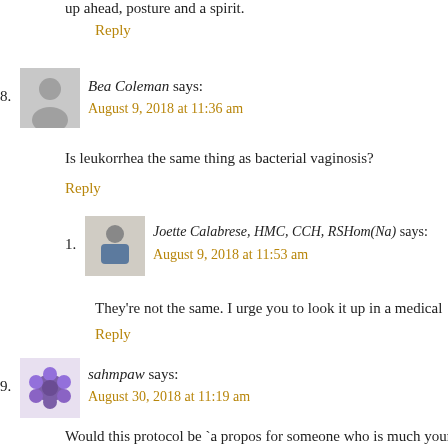up ahead, posture and a spirit.
Reply
8. Bea Coleman says: August 9, 2018 at 11:36 am
Is leukorrhea the same thing as bacterial vaginosis?
Reply
1. Joette Calabrese, HMC, CCH, RSHom(Na) says: August 9, 2018 at 11:53 am
They're not the same. I urge you to look it up in a medical e
Reply
9. sahmpaw says: August 30, 2018 at 11:19 am
Would this protocol be `a propos for someone who is much young saying get on HRT (progesterone)? Is this what Elle could have t identical hormones? Just trying to understand it all.